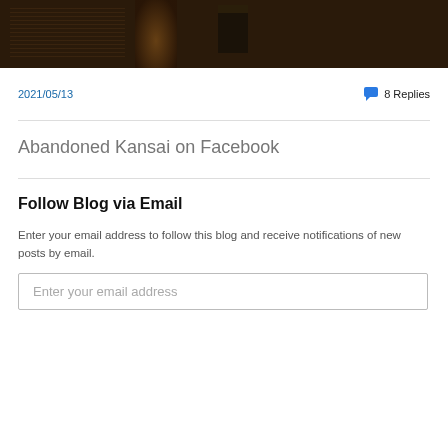[Figure (photo): Strip of four photos: dark interior wooden structure, spiral staircase detail, Japanese temple/pagoda exterior with greenery, Japanese temple courtyard with trees]
2021/05/13
8 Replies
Abandoned Kansai on Facebook
Follow Blog via Email
Enter your email address to follow this blog and receive notifications of new posts by email.
Enter your email address